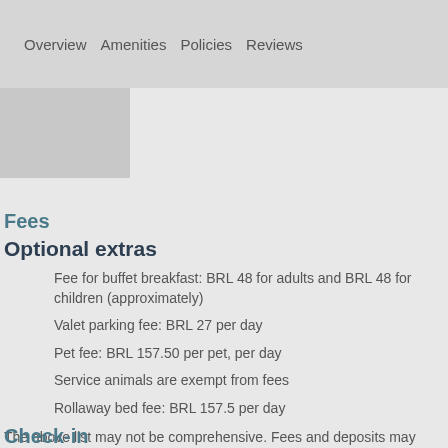Overview   Amenities   Policies   Reviews
[Figure (photo): Small thumbnail image placeholder]
Fees
Optional extras
Fee for buffet breakfast: BRL 48 for adults and BRL 48 for children (approximately)
Valet parking fee: BRL 27 per day
Pet fee: BRL 157.50 per pet, per day
Service animals are exempt from fees
Rollaway bed fee: BRL 157.5 per day
The above list may not be comprehensive. Fees and deposits may not include tax and are subject to change.
Check-in